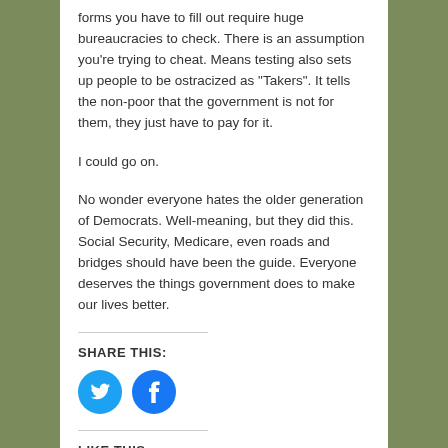forms you have to fill out require huge bureaucracies to check. There is an assumption you're trying to cheat. Means testing also sets up people to be ostracized as “Takers”. It tells the non-poor that the government is not for them, they just have to pay for it.
I could go on.
No wonder everyone hates the older generation of Democrats. Well-meaning, but they did this. Social Security, Medicare, even roads and bridges should have been the guide. Everyone deserves the things government does to make our lives better.
SHARE THIS:
[Figure (other): Twitter and Facebook social share icon buttons (blue circles with white logos)]
LIKE THIS:
[Figure (other): Like button with star icon]